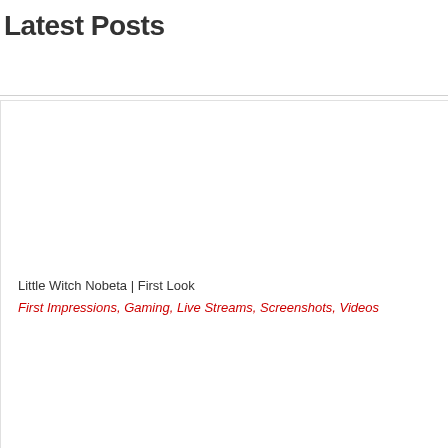Latest Posts
[Figure (photo): Blank/white image placeholder for a gaming post thumbnail]
Little Witch Nobeta | First Look
First Impressions, Gaming, Live Streams, Screenshots, Videos